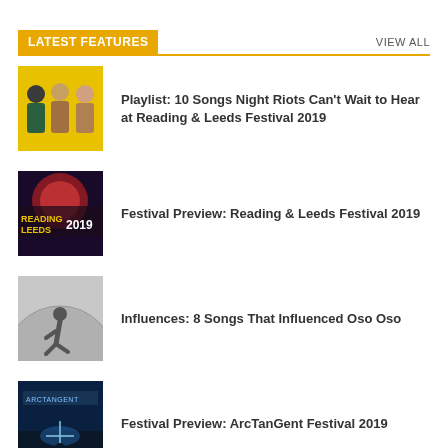LATEST FEATURES
VIEW ALL
[Figure (photo): Three young men posed against yellow background]
Playlist: 10 Songs Night Riots Can't Wait to Hear at Reading & Leeds Festival 2019
[Figure (photo): Reading & Leeds festival 2019 promo image with crowd and fireworks]
Festival Preview: Reading & Leeds Festival 2019
[Figure (photo): Person leaning against curved wall]
Influences: 8 Songs That Influenced Oso Oso
[Figure (photo): ArcTanGent festival stage with blue lighting]
Festival Preview: ArcTanGent Festival 2019